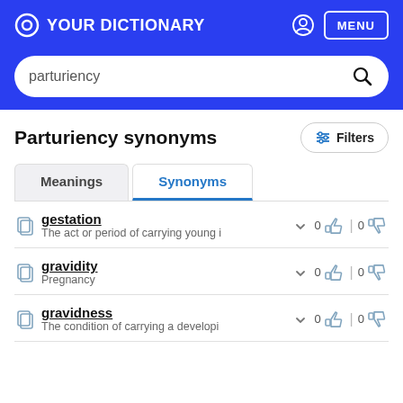YOUR DICTIONARY — MENU
parturiency
Parturiency synonyms
gestation — The act or period of carrying young i... — 0 likes 0 dislikes
gravidity — Pregnancy — 0 likes 0 dislikes
gravidness — The condition of carrying a developi... — 0 likes 0 dislikes